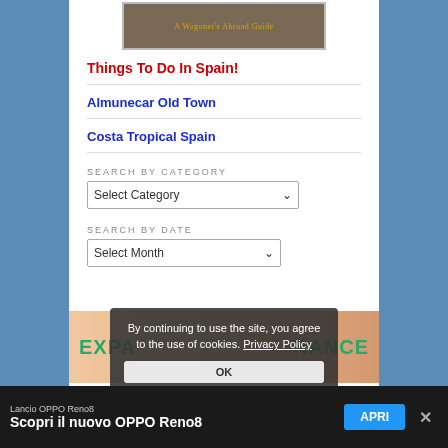[Figure (photo): A Wagoner's Abroad Guide book cover image, dark brownish/rocky background with golden text]
Things To Do In Spain!
Almunecar Old Town
Costa Tropical Spain
SEARCH BY CATEGORY
Select Category
SEARCH BY DATE
Select Month
[Figure (photo): Expat health insurance advertisement banner with silhouettes and green text]
By continuing to use the site, you agree to the use of cookies. Privacy Policy
OK
Lancio OPPO Reno8
Scopri il nuovo OPPO Reno8
APRI